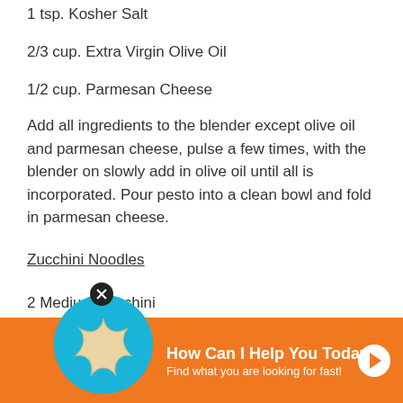1 tsp. Kosher Salt
2/3 cup. Extra Virgin Olive Oil
1/2 cup. Parmesan Cheese
Add all ingredients to the blender except olive oil and parmesan cheese, pulse a few times, with the blender on slowly add in olive oil until all is incorporated. Pour pesto into a clean bowl and fold in parmesan cheese.
Zucchini Noodles
2 Medium Zucchini
Use a Mandoline to Julienne the Zucchini -- slice into thin noodles.
Place zucc... bruschetta,... parmesan ch...
[Figure (other): Promotional banner overlay with a starfish logo on a teal circle and orange background, with text 'How Can I Help You Today! Find what you are looking for fast!' and an arrow button.]